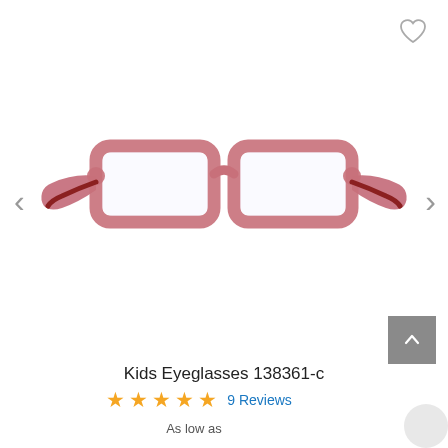[Figure (photo): Pink/red kids rectangular eyeglasses (model 138361-c) shown from front, transparent pinkish-red frame with darker red temples, white background.]
Kids Eyeglasses 138361-c
★★★★★  9 Reviews
As low as